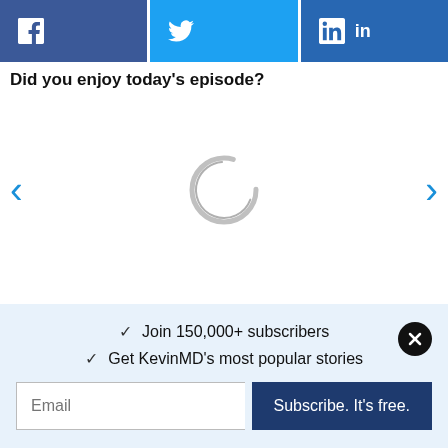[Figure (other): Social share buttons: Facebook, Twitter, LinkedIn]
Did you enjoy today's episode?
[Figure (other): Loading spinner / circular ring graphic in center of media area with left and right navigation arrows]
✓ Join 150,000+ subscribers
✓ Get KevinMD's most popular stories
Email
Subscribe. It's free.